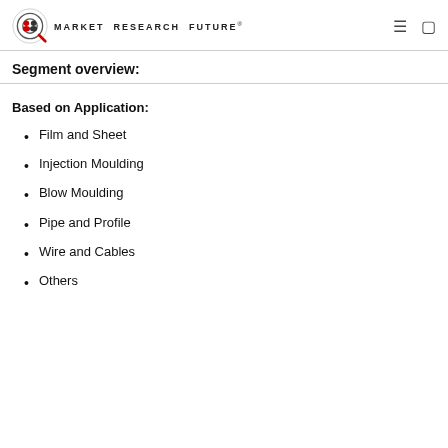Market Research Future
Segment overview:
Based on Application:
Film and Sheet
Injection Moulding
Blow Moulding
Pipe and Profile
Wire and Cables
Others